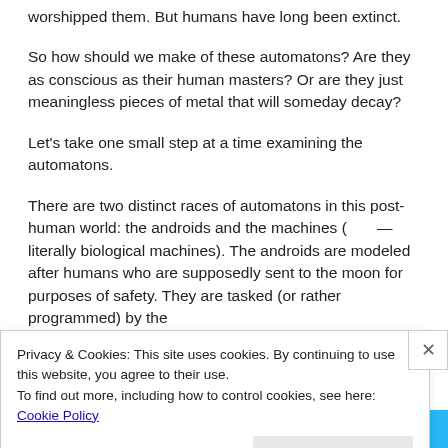worshipped them. But humans have long been extinct.
So how should we make of these automatons? Are they as conscious as their human masters? Or are they just meaningless pieces of metal that will someday decay?
Let’s take one small step at a time examining the automatons.
There are two distinct races of automatons in this post-human world: the androids and the machines (       — literally biological machines). The androids are modeled after humans who are supposedly sent to the moon for purposes of safety. They are tasked (or rather programmed) by the
Privacy & Cookies: This site uses cookies. By continuing to use this website, you agree to their use.
To find out more, including how to control cookies, see here: Cookie Policy
Close and accept
app you’ll ever need.